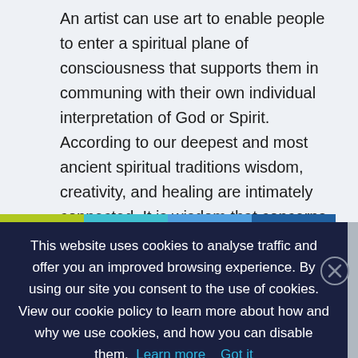An artist can use art to enable people to enter a spiritual plane of consciousness that supports them in communing with their own individual interpretation of God or Spirit. According to our deepest and most ancient spiritual traditions wisdom, creativity, and healing are intimately connected. It is wisdom that concerns our relationship to the whole, to the cosmos, to nature, and to both feminine and masculine powers of nature. Theologian Matthew Fox views wisdom and creativity as
This website uses cookies to analyse traffic and offer you an improved browsing experience. By using our site you consent to the use of cookies. View our cookie policy to learn more about how and why we use cookies, and how you can disable them. Learn more   Got it